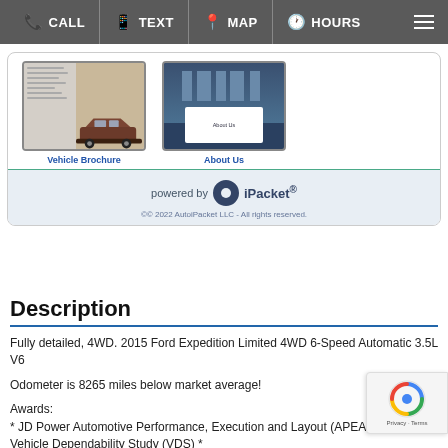CALL  TEXT  MAP  HOURS
[Figure (screenshot): Vehicle Brochure thumbnail showing a Ford SUV on a beige background with text lines on the left side]
Vehicle Brochure
[Figure (screenshot): About Us thumbnail showing a dealership building exterior with an About Us overlay card]
About Us
powered by iPacket®
©© 2022 AutoiPacket LLC - All rights reserved.
Description
Fully detailed, 4WD. 2015 Ford Expedition Limited 4WD 6-Speed Automatic 3.5L V6
Odometer is 8265 miles below market average!
Awards:
* JD Power Automotive Performance, Execution and Layout (APEAL) Study, Vehicle Dependability Study (VDS) *